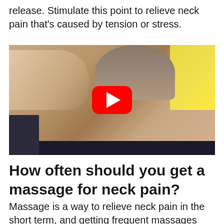release. Stimulate this point to relieve neck pain that's caused by tension or stress.
[Figure (photo): A person receiving a neck/shoulder massage, with a hand pressing on the upper back. A YouTube play button overlay is visible in the center of the image.]
How often should you get a massage for neck pain?
Massage is a way to relieve neck pain in the short term, and getting frequent massages may be most beneficial. One study found